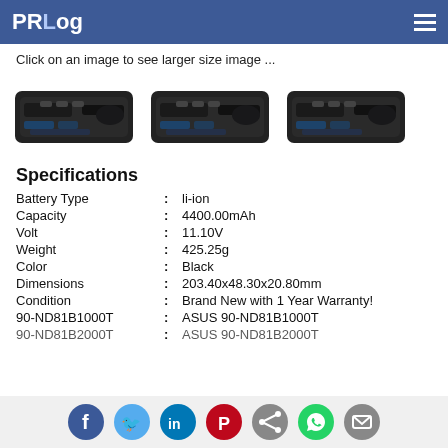PRLog
Click on an image to see larger size image ...
[Figure (photo): Three black laptop battery pack images shown side by side]
Specifications
| Attribute | : | Value |
| --- | --- | --- |
| Battery Type | : | li-ion |
| Capacity | : | 4400.00mAh |
| Volt | : | 11.10V |
| Weight | : | 425.25g |
| Color | : | Black |
| Dimensions | : | 203.40x48.30x20.80mm |
| Condition | : | Brand New with 1 Year Warranty! |
| 90-ND81B1000T | : | ASUS 90-ND81B1000T |
| 90-ND81B2000T | : | ASUS 90-ND81B2000T |
Social share icons: Facebook, Twitter, LinkedIn, Pinterest, Share, WhatsApp, Email